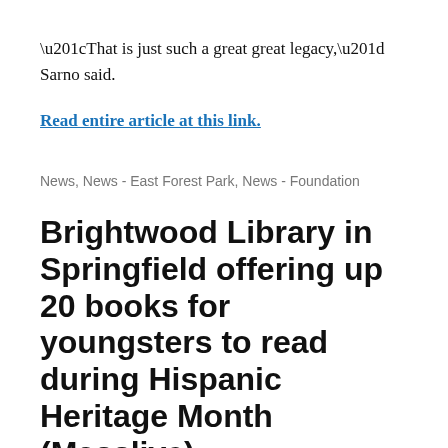“That is just such a great great legacy,” Sarno said.
Read entire article at this link.
News, News - East Forest Park, News - Foundation
Brightwood Library in Springfield offering up 20 books for youngsters to read during Hispanic Heritage Month (Masslive)